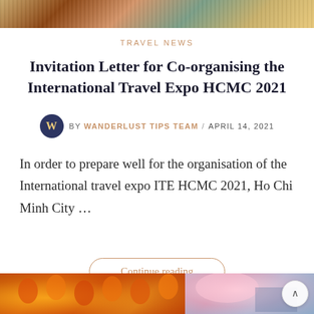[Figure (photo): Top portion of a travel photo — colorful scene with items on a table]
TRAVEL NEWS
Invitation Letter for Co-organising the International Travel Expo HCMC 2021
by WANDERLUST TIPS TEAM / APRIL 14, 2021
In order to prepare well for the organisation of the International travel expo ITE HCMC 2021, Ho Chi Minh City …
Continue reading
[Figure (photo): Two photos at bottom: left shows red and gold Chinese lanterns, right shows cherry blossom trees and a traditional building]